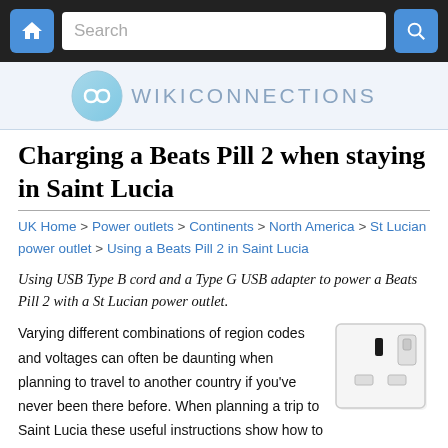WIKICONNECTIONS
Charging a Beats Pill 2 when staying in Saint Lucia
UK Home > Power outlets > Continents > North America > St Lucian power outlet > Using a Beats Pill 2 in Saint Lucia
Using USB Type B cord and a Type G USB adapter to power a Beats Pill 2 with a St Lucian power outlet.
Varying different combinations of region codes and voltages can often be daunting when planning to travel to another country if you've never been there before. When planning a trip to Saint Lucia these useful instructions show how to power your Beats Pill 2 by using a 240 volt 50Hz Type G St Lucian power outlet, with the St Lucians
[Figure (photo): Photo of a Type G UK power outlet socket, white, with two rectangular prongs and a switch]